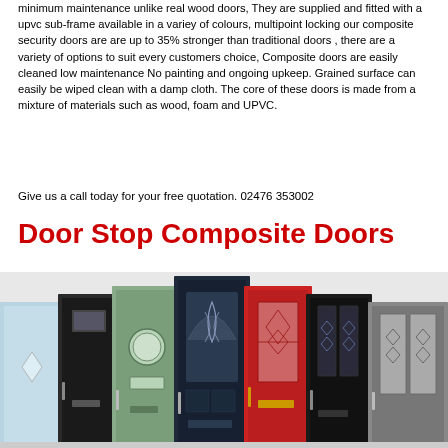minimum maintenance unlike real wood doors, They are supplied and fitted with a upvc sub-frame available in a variety of colours, multipoint locking our composite security doors are are up to 35% stronger than traditional doors , there are a variety of options to suit every customers choice, Composite doors are easily cleaned low maintenance No painting and ongoing upkeep. Grained surface can easily be wiped clean with a damp cloth. The core of these doors is made from a mixture of materials such as wood, foam and UPVC.
Give us a call today for your free quotation. 02476 353002
Door Stop Composite Doors
[Figure (photo): A row of seven composite doors in various colours and styles including light blue, dark/black, sage green, dark navy with arched glass, red, black with glass panels, and grey/silver.]